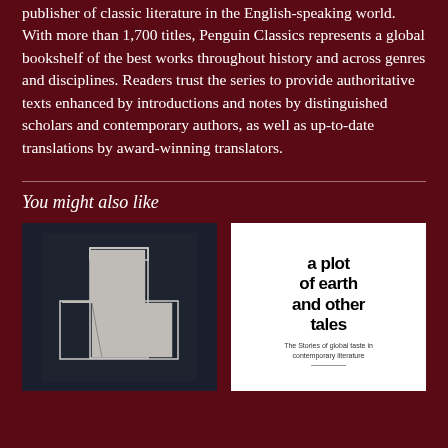publisher of classic literature in the English-speaking world. With more than 1,700 titles, Penguin Classics represents a global bookshelf of the best works throughout history and across genres and disciplines. Readers trust the series to provide authoritative texts enhanced by introductions and notes by distinguished scholars and contemporary authors, as well as up-to-date translations by award-winning translators.
You might also like
[Figure (photo): Book cover with dark navy background showing a white/grey abstract sculptural cross or plus-sign shape with geometric angles]
[Figure (photo): Book cover with white background showing bold black text: 'a plot of earth and other tales' with smaller subtitle text below]